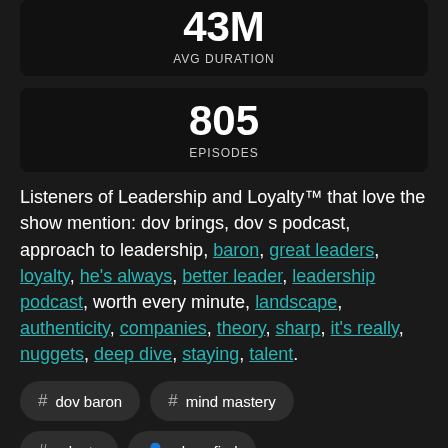43M AVG DURATION
805 EPISODES
Listeners of Leadership and Loyalty™ that love the show mention: dov brings, dov s podcast, approach to leadership, baron, great leaders, loyalty, he's always, better leader, leadership podcast, worth every minute, landscape, authenticity, companies, theory, sharp, it's really, nuggets, deep dive, staying, talent.
# dov baron
# mind mastery
# roku tv
alexa find
# my pod home page url